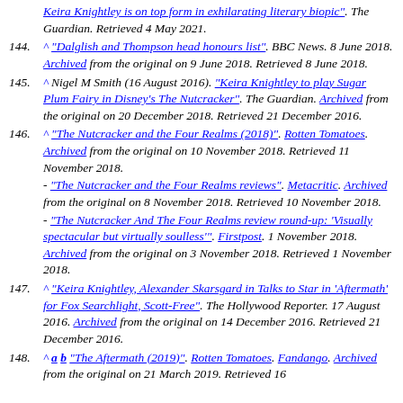^ Keira Knightley is on top form in exhilarating literary biopic". The Guardian. Retrieved 4 May 2021.
144. ^ "Dalglish and Thompson head honours list". BBC News. 8 June 2018. Archived from the original on 9 June 2018. Retrieved 8 June 2018.
145. ^ Nigel M Smith (16 August 2016). "Keira Knightley to play Sugar Plum Fairy in Disney's The Nutcracker". The Guardian. Archived from the original on 20 December 2018. Retrieved 21 December 2016.
146. ^ "The Nutcracker and the Four Realms (2018)". Rotten Tomatoes. Archived from the original on 10 November 2018. Retrieved 11 November 2018. - "The Nutcracker and the Four Realms reviews". Metacritic. Archived from the original on 8 November 2018. Retrieved 10 November 2018. - "The Nutcracker And The Four Realms review round-up: 'Visually spectacular but virtually soulless'". Firstpost. 1 November 2018. Archived from the original on 3 November 2018. Retrieved 1 November 2018.
147. ^ "Keira Knightley, Alexander Skarsgard in Talks to Star in 'Aftermath' for Fox Searchlight, Scott-Free". The Hollywood Reporter. 17 August 2016. Archived from the original on 14 December 2016. Retrieved 21 December 2016.
148. ^ a b "The Aftermath (2019)". Rotten Tomatoes. Fandango. Archived from the original on 21 March 2019. Retrieved 16...